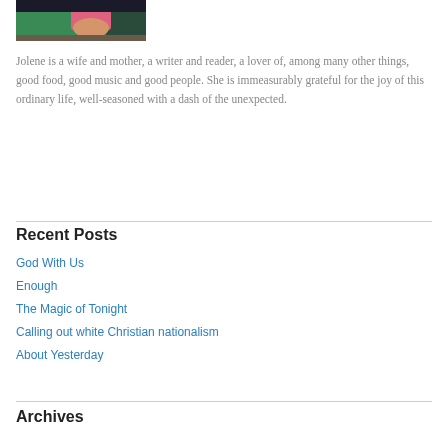[Figure (photo): Photo of a woman wearing a green top holding a baby/child in a pink outfit, cropped at the top of the page.]
Jolene is a wife and mother, a writer and reader, a lover of, among many other things, good food, good music and good people. She is immeasurably grateful for the joy of this ordinary life, well-seasoned with a dash of the unexpected.
Recent Posts
God With Us
Enough
The Magic of Tonight
Calling out white Christian nationalism
About Yesterday
Archives